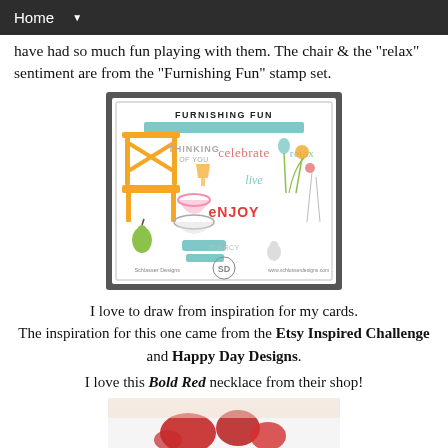Home ▼
have had so much fun playing with them. The chair & the "relax" sentiment are from the "Furnishing Fun" stamp set.
[Figure (illustration): Stamp set product image for 'Furnishing Fun' by Schlasser Designs, featuring illustrated chair, lamp, bowl, pear, flowers, and sentiments: THINKING OF YOU, celebrate, relax, live, ENJOY, with SD logo and website www.schlosserdesigns.com]
I love to draw from inspiration for my cards. The inspiration for this one came from the Etsy Inspired Challenge and Happy Day Designs.
I love this Bold Red necklace from their shop!
[Figure (photo): Photo of a red necklace/jewelry from their shop, partially visible at bottom of page]